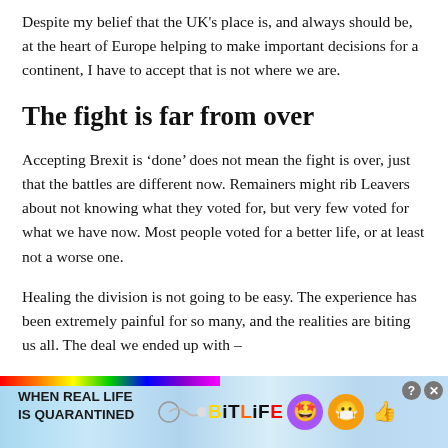Despite my belief that the UK's place is, and always should be, at the heart of Europe helping to make important decisions for a continent, I have to accept that is not where we are.
The fight is far from over
Accepting Brexit is 'done' does not mean the fight is over, just that the battles are different now. Remainers might rib Leavers about not knowing what they voted for, but very few voted for what we have now. Most people voted for a better life, or at least not a worse one.
Healing the division is not going to be easy. The experience has been extremely painful for so many, and the realities are biting us all. The deal we ended up with –
[Figure (other): Advertisement banner for BitLife mobile game. Shows rainbow stripe, text 'WHEN REAL LIFE IS QUARANTINED', a connector graphic, BitLife logo with emoji characters (star eyes face and masked face with thumbs up), and help/close buttons.]